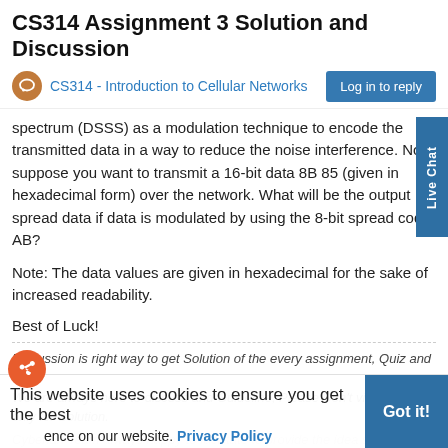CS314 Assignment 3 Solution and Discussion
CS314 - Introduction to Cellular Networks
Log in to reply
spectrum (DSSS) as a modulation technique to encode the transmitted data in a way to reduce the noise interference. Now, suppose you want to transmit a 16-bit data 8B 85 (given in hexadecimal form) over the network. What will be the output spread data if data is modulated by using the 8-bit spread code AB?
Note: The data values are given in hexadecimal for the sake of increased readability.
Best of Luck!
Discussion is right way to get Solution of the every assignment, Quiz and GDB.
We are always here to discuss and Guideline, Please Don't visit Cyberian only for Solution.
This website uses cookies to ensure you get the best experience on our website. Privacy Policy
Got it!